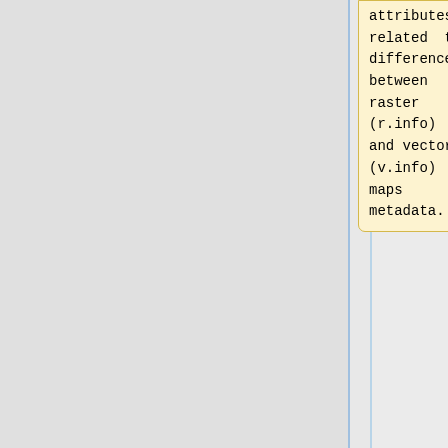attributes related to differences between raster (r.info) and vector (v.info) maps metadata.
* Currently are available two build-in ISO profile:
== Modules r.info.iso, v.info.iso t.info.iso ==
'''The Basic
Command line based